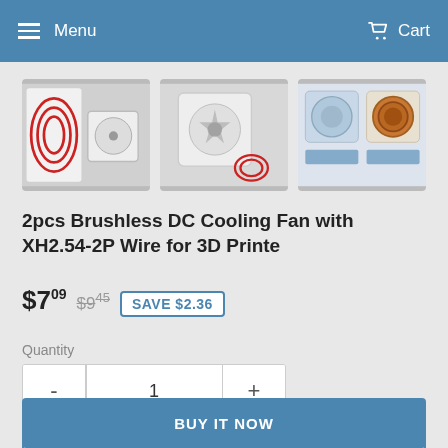Menu   Cart
[Figure (screenshot): Three product thumbnail images of cooling fans and components for 3D printers]
2pcs Brushless DC Cooling Fan with XH2.54-2P Wire for 3D Printe
$7.09  $9.45  SAVE $2.36
Quantity
- 1 +
ADD TO CART
BUY IT NOW